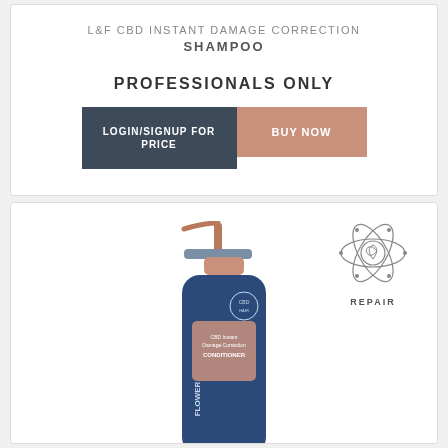L&F CBD INSTANT DAMAGE CORRECTION SHAMPOO
PROFESSIONALS ONLY
LOGIN/SIGNUP FOR PRICE
BUY NOW
[Figure (photo): Blue pump bottle of L&F CBD Instant Damage Correction Conditioner by Flower, with a rose gold pump top and cap]
REPAIR